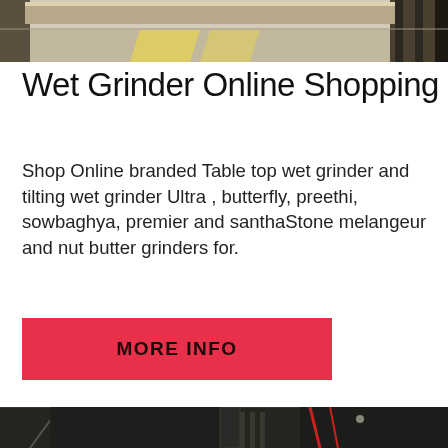[Figure (photo): Top portion of a wet grinder machine in an industrial setting, showing metal components on a light floor]
Wet Grinder Online Shopping
Shop Online branded Table top wet grinder and tilting wet grinder Ultra , butterfly, preethi, sowbaghya, premier and santhaStone melangeur and nut butter grinders for.
MORE INFO
[Figure (photo): Close-up photo of a large industrial wet grinder machine, dark metal body with hydraulic components, taken inside a factory with metal roof structure visible above]